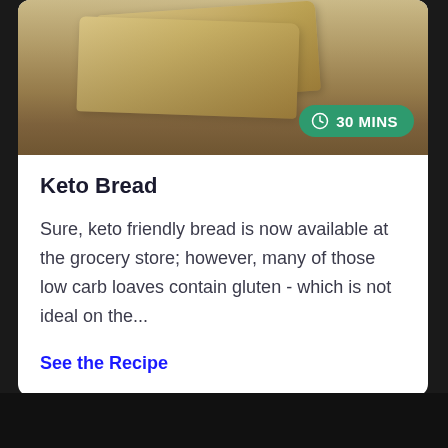[Figure (photo): Photo of sliced keto bread on a wooden cutting board, viewed from above at an angle, with a light background.]
Keto Bread
Sure, keto friendly bread is now available at the grocery store; however, many of those low carb loaves contain gluten - which is not ideal on the...
See the Recipe